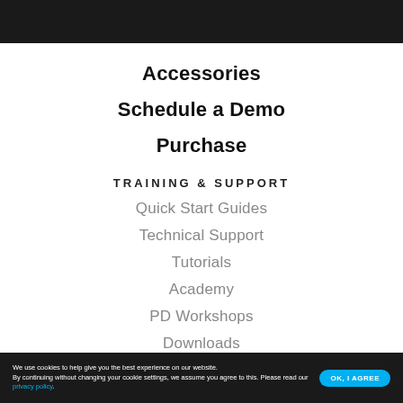Accessories
Schedule a Demo
Purchase
TRAINING & SUPPORT
Quick Start Guides
Technical Support
Tutorials
Academy
PD Workshops
Downloads
We use cookies to help give you the best experience on our website. By continuing without changing your cookie settings, we assume you agree to this. Please read our privacy policy.